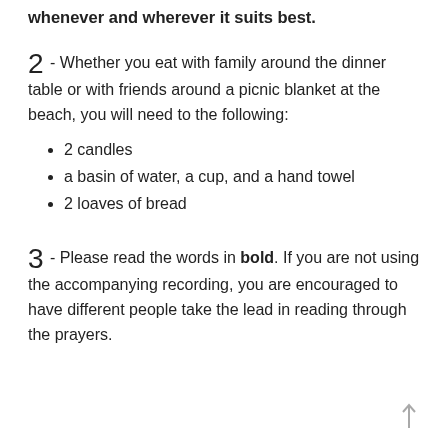whenever and wherever it suits best.
2 - Whether you eat with family around the dinner table or with friends around a picnic blanket at the beach, you will need to the following:
2 candles
a basin of water, a cup, and a hand towel
2 loaves of bread
3 - Please read the words in bold. If you are not using the accompanying recording, you are encouraged to have different people take the lead in reading through the prayers.